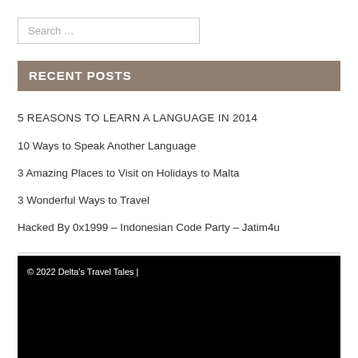Search …
RECENT POSTS
5 REASONS TO LEARN A LANGUAGE IN 2014
10 Ways to Speak Another Language
3 Amazing Places to Visit on Holidays to Malta
3 Wonderful Ways to Travel
Hacked By 0x1999 – Indonesian Code Party – Jatim4u
© 2022 Delta's Travel Tales |